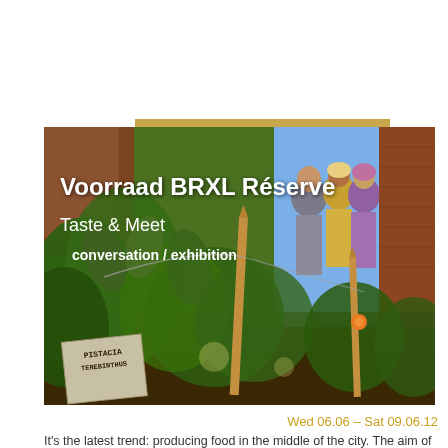[Figure (photo): Outdoor urban garden photo showing lush green plants in foreground with wooden stakes, a plant identification sign reading 'PISTACIA TEREBINTHUS', a colorful mural on a wall in the background showing figures, and brick walls. Text overlays on the photo include the title 'Voorraad BRXL Réserve', subtitle 'Taste & Meet', and tags 'conversation / exhibition'.]
Wed 06.06 – Sat 09.06.12
It's the latest trend: producing food in the middle of the city. The aim of Voorraad BRXL Réserve is to demonstrate that